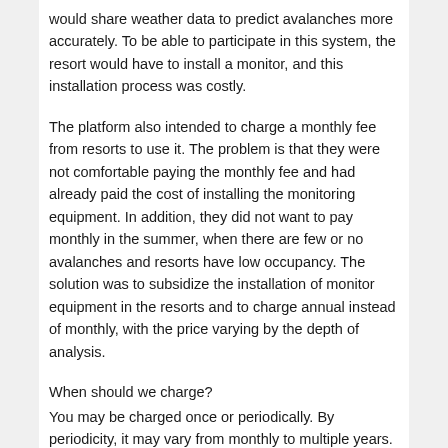would share weather data to predict avalanches more accurately. To be able to participate in this system, the resort would have to install a monitor, and this installation process was costly.
The platform also intended to charge a monthly fee from resorts to use it. The problem is that they were not comfortable paying the monthly fee and had already paid the cost of installing the monitoring equipment. In addition, they did not want to pay monthly in the summer, when there are few or no avalanches and resorts have low occupancy. The solution was to subsidize the installation of monitor equipment in the resorts and to charge annual instead of monthly, with the price varying by the depth of analysis.
When should we charge?
You may be charged once or periodically. By periodicity, it may vary from monthly to multiple years. It is not uncommon to see cases where there are multiple period options (eg monthly and yearly), where discounts on